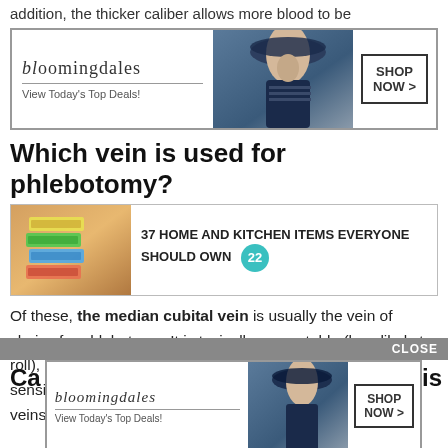addition, the thicker caliber allows more blood to be
[Figure (advertisement): Bloomingdales ad banner with woman in hat, Shop Now button]
Which vein is used for phlebotomy?
[Figure (advertisement): 37 Home and Kitchen Items Everyone Should Own - product ad with storage bags image and teal badge showing 22]
Of these, the median cubital vein is usually the vein of choice for phlebotomy: It is typically more stable (less likely to roll), it lies more superficially, and the skin overlying it is less sensitive than the skin overlying the other veins. Antecubital veins, right arm.
[Figure (advertisement): Bloomingdales ad banner with CLOSE button overlay, woman in hat, Shop Now button]
Ca is